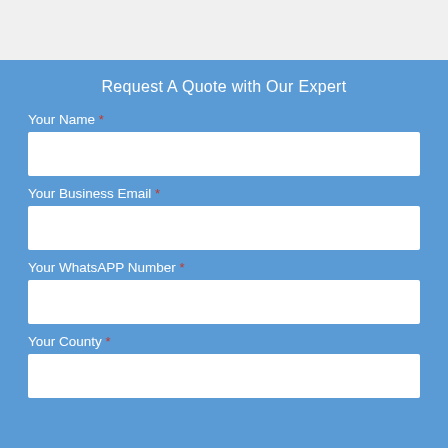Request A Quote with Our Expert
Your Name *
Your Business Email *
Your WhatsAPP Number *
Your County *